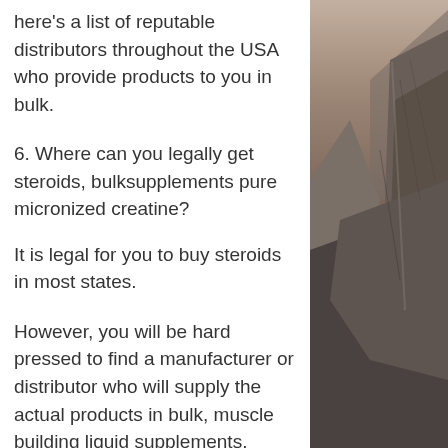here's a list of reputable distributors throughout the USA who provide products to you in bulk.
6. Where can you legally get steroids, bulksupplements pure micronized creatine?
It is legal for you to buy steroids in most states.
However, you will be hard pressed to find a manufacturer or distributor who will supply the actual products in bulk, muscle building liquid supplements.
If you are concerned about buying supplements online, look for a reputable distributor who is willing to sell bulk quantities or supplements to a wider audience.
[Figure (photo): Dark moody photograph of rocky mountain cliffs against a dusky sky, positioned on the right side of the page]